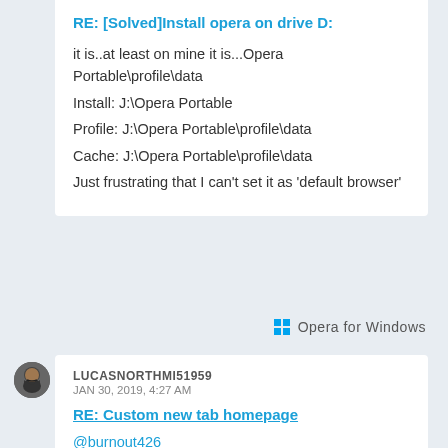RE: [Solved]Install opera on drive D:
it is..at least on mine it is...Opera Portable\profile\data
Install: J:\Opera Portable
Profile: J:\Opera Portable\profile\data
Cache: J:\Opera Portable\profile\data
Just frustrating that I can't set it as 'default browser'
Opera for Windows
LUCASNORTHMI51959
JAN 30, 2019, 4:27 AM
RE: Custom new tab homepage
@burnout426
Nothing works to solve this at present (Version:59.0.3211.0)